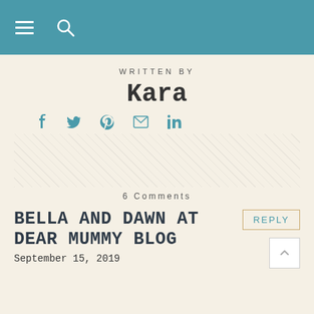Navigation header with hamburger menu and search icon
WRITTEN BY
Kara
[Figure (infographic): Social media icons row: Facebook, Twitter, Pinterest, Email, LinkedIn in teal color]
[Figure (illustration): Faded decorative floral background area]
6 Comments
BELLA AND DAWN AT DEAR MUMMY BLOG
September 15, 2019